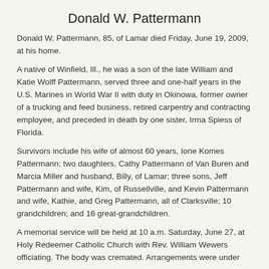Donald W. Pattermann
Donald W. Pattermann, 85, of Lamar died Friday, June 19, 2009, at his home.
A native of Winfield, Ill., he was a son of the late William and Katie Wolff Pattermann, served three and one-half years in the U.S. Marines in World War II with duty in Okinowa, former owner of a trucking and feed business, retired carpentry and contracting employee, and preceded in death by one sister, Irma Spiess of Florida.
Survivors include his wife of almost 60 years, Ione Komes Pattermann; two daughters, Cathy Pattermann of Van Buren and Marcia Miller and husband, Billy, of Lamar; three sons, Jeff Pattermann and wife, Kim, of Russellville, and Kevin Pattermann and wife, Kathie, and Greg Pattermann, all of Clarksville; 10 grandchildren; and 16 great-grandchildren.
A memorial service will be held at 10 a.m. Saturday, June 27, at Holy Redeemer Catholic Church with Rev. William Wewers officiating. The body was cremated. Arrangements were under